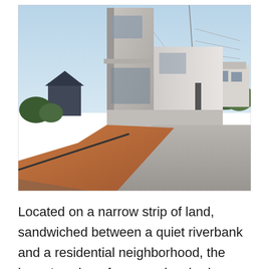[Figure (photo): Exterior photograph of a modern concrete house situated on a narrow strip of land. The building features stark concrete walls, large glazed windows, and a flat roof. The foreground shows a concrete driveway and a strip of reddish-brown soil. Neighboring houses and power lines are visible in the background under a blue sky.]
Located on a narrow strip of land, sandwiched between a quiet riverbank and a residential neighborhood, the home's unique form was inspired